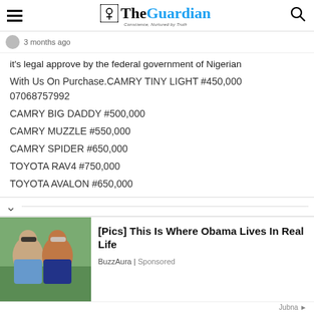The Guardian
3 months ago
it's legal approve by the federal government of Nigerian
With Us On Purchase.CAMRY TINY LIGHT #450,000 07068757992
CAMRY BIG DADDY #500,000
CAMRY MUZZLE #550,000
CAMRY SPIDER #650,000
TOYOTA RAV4 #750,000
TOYOTA AVALON #650,000
[Figure (photo): Photo of two people, a man in sunglasses and a woman in sunglasses, outdoors with greenery in background — advertisement image]
[Pics] This Is Where Obama Lives In Real Life
BuzzAura | Sponsored
Jubna